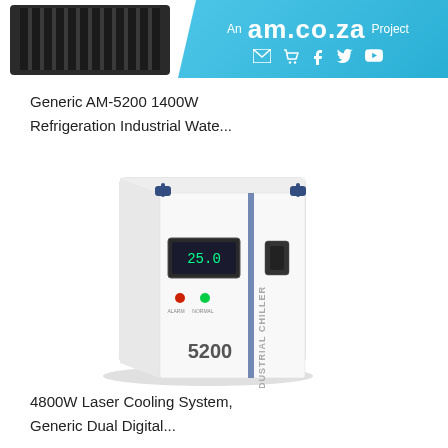[Figure (photo): Partial view of a black heatsink product in the top-left corner]
[Figure (logo): am.co.za project banner with social media icons on a light blue background]
Generic AM-5200 1400W
Refrigeration Industrial Wate...
[Figure (photo): Generic AM-5200 Industrial Chiller unit - white boxy machine with blue handles, digital display, indicator lights, and '5200' label]
4800W Laser Cooling System,
Generic Dual Digital...